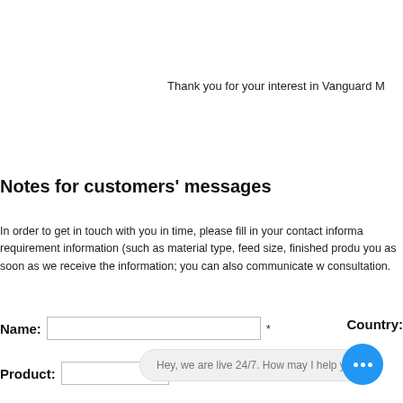Thank you for your interest in Vanguard M
Notes for customers' messages
In order to get in touch with you in time, please fill in your contact informa requirement information (such as material type, feed size, finished produ you as soon as we receive the information; you can also communicate w consultation.
Name:
Country:
Product:
Hey, we are live 24/7. How may I help you?